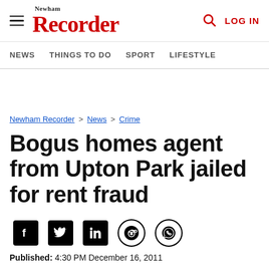Newham Recorder — LOG IN
NEWS  THINGS TO DO  SPORT  LIFESTYLE
Newham Recorder > News > Crime
Bogus homes agent from Upton Park jailed for rent fraud
Published: 4:30 PM December 16, 2011